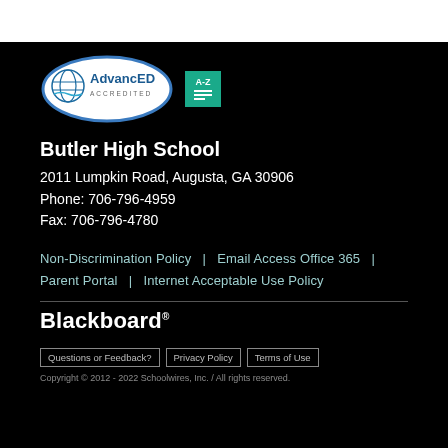[Figure (logo): AdvancED Accredited logo (oval shape with globe icon and text) and A-Z index green button]
Butler High School
2011 Lumpkin Road, Augusta, GA 30906
Phone: 706-796-4959
Fax: 706-796-4780
Non-Discrimination Policy  |  Email Access Office 365  |  Parent Portal  |  Internet Acceptable Use Policy
[Figure (logo): Blackboard logo in white text]
Questions or Feedback?  Privacy Policy  Terms of Use
Copyright © 2012 - 2022 Schoolwires, Inc. / All rights reserved.